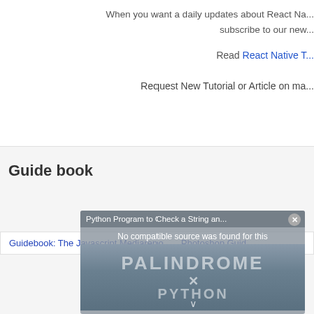When you want a daily updates about React Na... subscribe to our new...
Read React Native T...
Request New Tutorial or Article on ma...
Guide book
[Figure (screenshot): Video popup overlay showing 'Python Program to Check a String an...' title bar with close button, 'No compatible source was found for this' message, and PALINDROME X PYTHON text over a water/ocean background image]
Guidebook: The Javascript Mediarepo... Photoshop Guid...